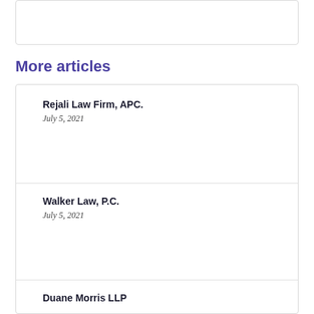More articles
Rejali Law Firm, APC.
July 5, 2021
Walker Law, P.C.
July 5, 2021
Duane Morris LLP